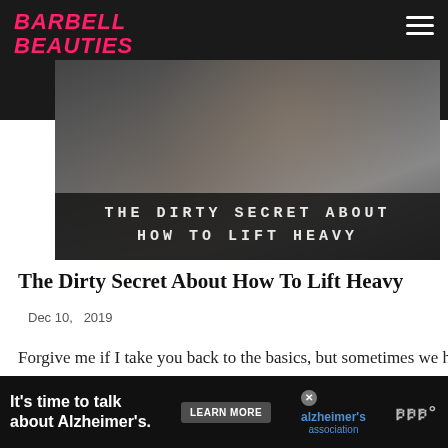BARBELL BEAUTIES
[Figure (photo): Hero image of a gym with text overlay: 'THE DIRTY SECRET ABOUT HOW TO LIFT HEAVY']
The Dirty Secret About How To Lift Heavy
Dec 10,  2019
Forgive me if I take you back to the basics, but sometimes we have to look back to be able to move forward. In exercise physiology, we have what we call the five health-related components of fitness: body composition, cardiovascular fitness, muscular strength, muscular endurance, and flexibility.  These are elements that we consider the most
[Figure (screenshot): Ad banner: It's time to talk about Alzheimer's. LEARN MORE. Alzheimer's Association logo.]